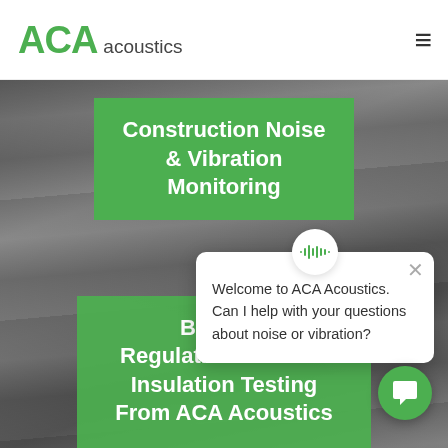ACA acoustics
Construction Noise & Vibration Monitoring
[Figure (screenshot): Chat popup widget with ACA Acoustics chatbot icon and welcome message: Welcome to ACA Acoustics. Can I help with your questions about noise or vibration?]
Building Regulations: Sound Insulation Testing From ACA Acoustics